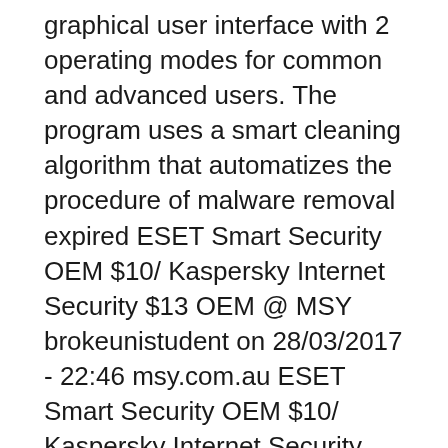graphical user interface with 2 operating modes for common and advanced users. The program uses a smart cleaning algorithm that automatizes the procedure of malware removal expired ESET Smart Security OEM $10/ Kaspersky Internet Security $13 OEM @ MSY brokeunistudent on 28/03/2017 - 22:46 msy.com.au ESET Smart Security OEM $10/ Kaspersky Internet Security $13 OEM @ MSY Mentioned under Notebook User most wanted category on page 3 onwards.
ESET Smart Security 4 sits nicely on the Windows system tray and occasionally pop-ups a non-intrusive message at the bottom right corner of your Windows...